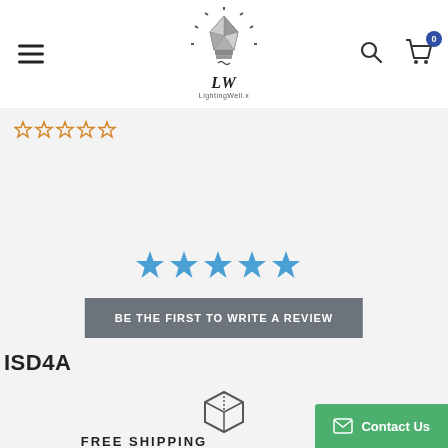[Figure (logo): LightingWell.x logo with geometric lightbulb SVG and stylized text]
[Figure (other): Five orange outline star rating icons (empty stars)]
[Figure (other): Five solid blue star rating icons]
BE THE FIRST TO WRITE A REVIEW
ISD4A
[Figure (other): Package/box icon for free shipping]
FREE SHIPPING
Contact Us